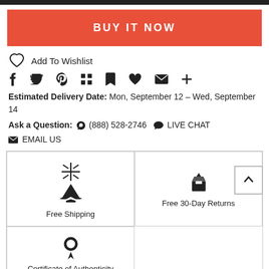BUY IT NOW
Add To Wishlist
Social share icons: f, twitter, pinterest, grid, bookmark, heart, mail, plus
Estimated Delivery Date: Mon, September 12 - Wed, September 14
Ask a Question: (888) 528-2746  LIVE CHAT  EMAIL US
Free Shipping
Free 30-Day Returns
Certificate of Authenticity